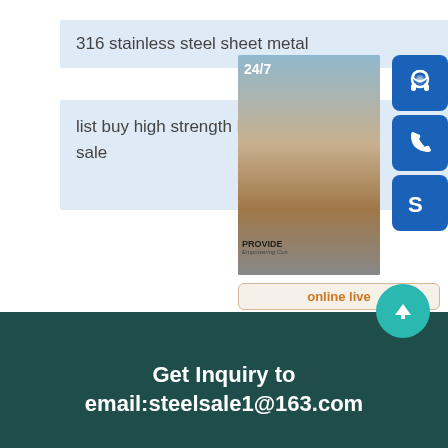316 stainless steel sheet metal
list buy high strength hollow ball sale
[Figure (infographic): Customer service widget showing a woman with headset, 24/7 text, blue icon buttons for chat, phone, and Skype, and an 'online live' button. Overlays the content area on the right side.]
[Figure (other): Teal circular scroll-to-top button with upward arrow]
Get Inquiry to email:steelsale1@163.com